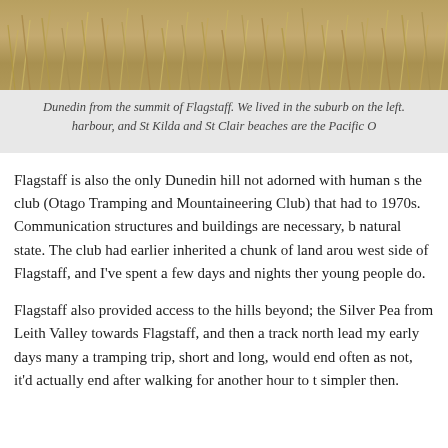[Figure (photo): Aerial or panoramic view of Dunedin from the summit of Flagstaff, showing tussock grass in the foreground with the city and harbour visible beyond.]
Dunedin from the summit of Flagstaff. We lived in the suburb on the left. harbour, and St Kilda and St Clair beaches are the Pacific O
Flagstaff is also the only Dunedin hill not adorned with human s the club (Otago Tramping and Mountaineering Club) that had to 1970s. Communication structures and buildings are necessary, b natural state. The club had earlier inherited a chunk of land arou west side of Flagstaff, and I've spent a few days and nights ther young people do.
Flagstaff also provided access to the hills beyond; the Silver Pea from Leith Valley towards Flagstaff, and then a track north lead my early days many a tramping trip, short and long, would end often as not, it'd actually end after walking for another hour to t simpler then.